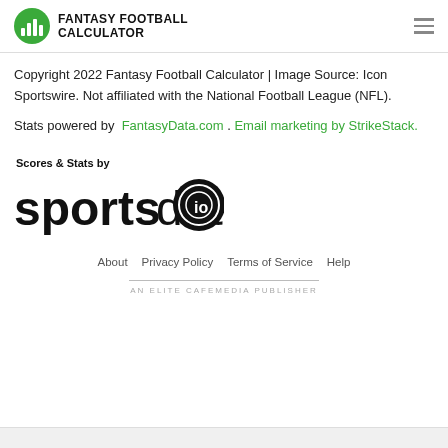FANTASY FOOTBALL CALCULATOR
Copyright 2022 Fantasy Football Calculator | Image Source: Icon Sportswire. Not affiliated with the National Football League (NFL).
Stats powered by FantasyData.com . Email marketing by StrikeStack.
[Figure (logo): Sportsdata.io logo with 'Scores & Stats by' label above it]
About   Privacy Policy   Terms of Service   Help
AN ELITE CAFEMEDIA PUBLISHER